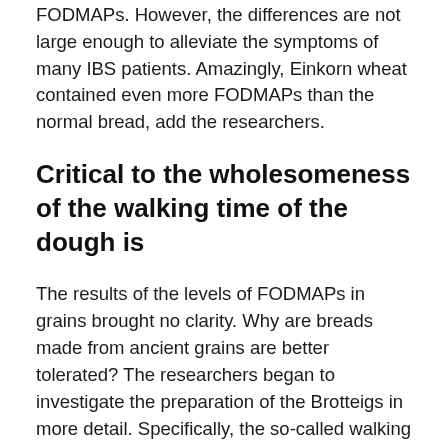FODMAPs. However, the differences are not large enough to alleviate the symptoms of many IBS patients. Amazingly, Einkorn wheat contained even more FODMAPs than the normal bread, add the researchers.
Critical to the wholesomeness of the walking time of the dough is
The results of the levels of FODMAPs in grains brought no clarity. Why are breads made from ancient grains are better tolerated? The researchers began to investigate the preparation of the Brotteigs in more detail. Specifically, the so-called walking time to the traditional methods of production of baked breads were interested in the scientists. For this reason, they